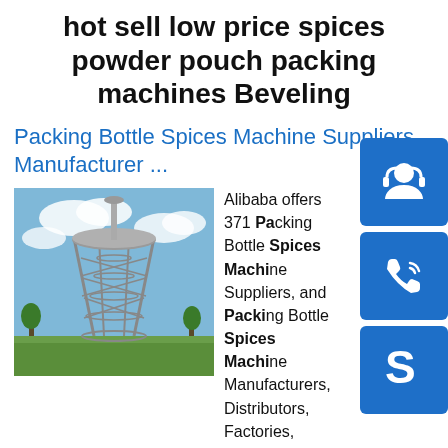hot sell low price spices powder pouch packing machines Beveling
Packing Bottle Spices Machine Suppliers, Manufacturer ...
[Figure (photo): A tall industrial scaffolding tower structure against a blue sky with clouds and some green trees at the base]
Alibaba offers 371 Packing Bottle Spices Machine Suppliers, and Packing Bottle Spices Machine Manufacturers, Distributors, Factories, Companies. There are 207 OEM, 209 ODM, 68 Self Patent. Find high quality Packing Bottle Spices Machine Suppliers on Alibaba.sp.info Highly Reliable, Efficient and Safe engineers available to ...Full Automatic 1kg 5kg 10kg Spices Milk Detergent Powder Filling Packing Machine. Ready to Ship. $8,500.00-$8,999.00 /